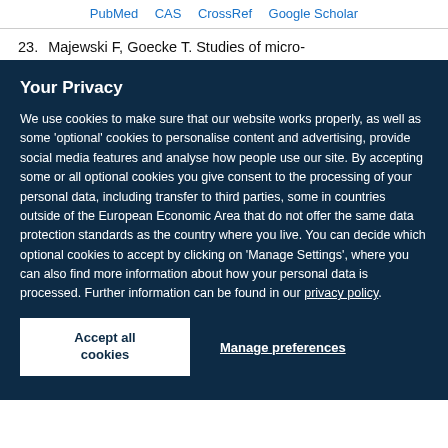PubMed  CAS  CrossRef  Google Scholar
23.  Majewski F, Goecke T. Studies of micro-
Your Privacy
We use cookies to make sure that our website works properly, as well as some 'optional' cookies to personalise content and advertising, provide social media features and analyse how people use our site. By accepting some or all optional cookies you give consent to the processing of your personal data, including transfer to third parties, some in countries outside of the European Economic Area that do not offer the same data protection standards as the country where you live. You can decide which optional cookies to accept by clicking on 'Manage Settings', where you can also find more information about how your personal data is processed. Further information can be found in our privacy policy.
Accept all cookies
Manage preferences